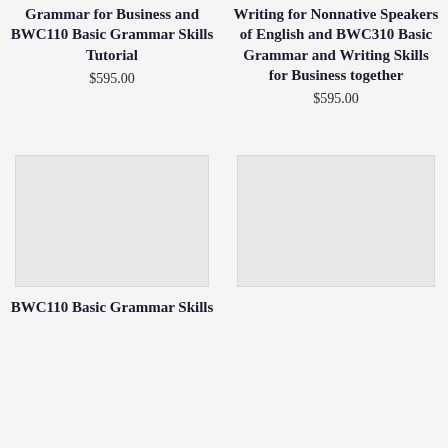Grammar for Business and BWC110 Basic Grammar Skills Tutorial
$595.00
Writing for Nonnative Speakers of English and BWC310 Basic Grammar and Writing Skills for Business together
$595.00
[Figure (illustration): Product image placeholder for BWC110 Basic Grammar Skills]
BWC110 Basic Grammar Skills
[Figure (illustration): Product image placeholder for right column bottom item]